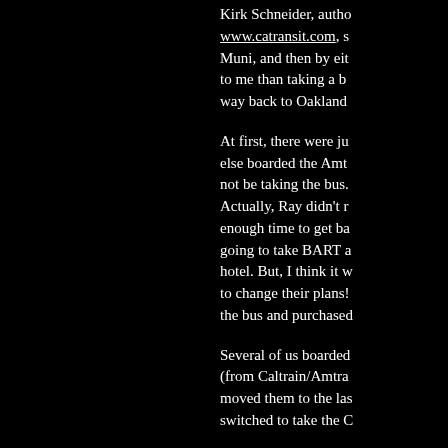Kirk Schneider, author of www.catransit.com, s... Muni, and then by eit... to me than taking a b... way back to Oakland...
At first, there were ju... else boarded the Amt... not be taking the bus. Actually, Ray didn't r... enough time to get ba... going to take BART a... hotel. But, I think it w... to change their plans! the bus and purchased...
Several of us boarded... (from Caltrain/Amtra... moved them to the las... switched to take the C...
Bruce gave us a narra... really worked out gre... today, but it made a g...